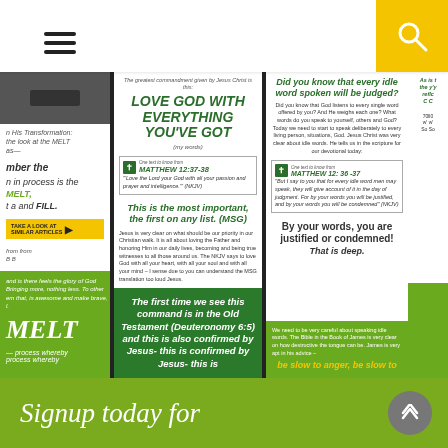[Figure (screenshot): Website screenshot showing a mobile web page with navigation bar (hamburger menu and yellow search button), a main content area with multiple overlapping/fanned religious devotional booklet panels featuring green and white design with text about loving God and judging words, and a green footer with 'Signup today for' text.]
Signup today for